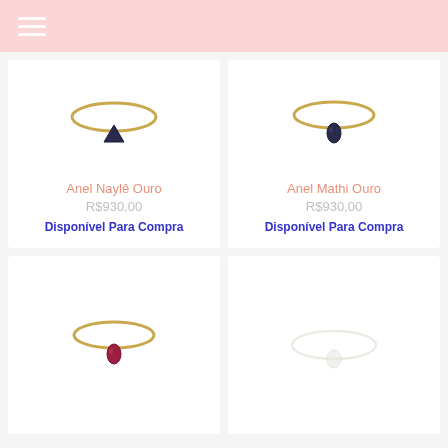≡
[Figure (photo): Gold ring with triangular dark blue/black gemstone - Anel Naylê Ouro]
Anel Naylê Ouro
R$930,00
Disponível Para Compra
[Figure (photo): Gold ring with teardrop dark blue/black gemstone - Anel Mathi Ouro]
Anel Mathi Ouro
R$930,00
Disponível Para Compra
[Figure (photo): Gold ring with teardrop dark red/ruby gemstone]
[Figure (photo): Gold ring with light/white gemstone, faint image]